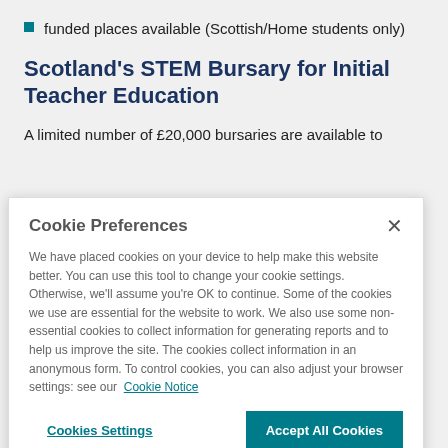funded places available (Scottish/Home students only)
Scotland's STEM Bursary for Initial Teacher Education
A limited number of £20,000 bursaries are available to
Cookie Preferences
We have placed cookies on your device to help make this website better. You can use this tool to change your cookie settings. Otherwise, we'll assume you're OK to continue. Some of the cookies we use are essential for the website to work. We also use some non-essential cookies to collect information for generating reports and to help us improve the site. The cookies collect information in an anonymous form. To control cookies, you can also adjust your browser settings: see our Cookie Notice
Cookies Settings
Accept All Cookies